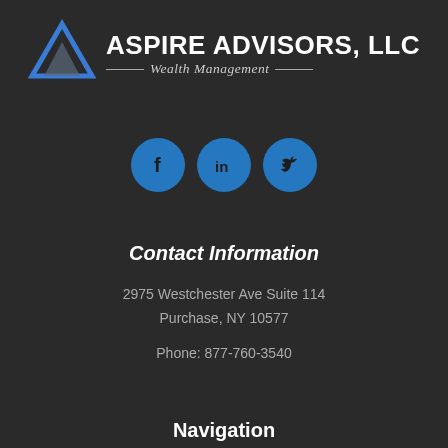[Figure (logo): Aspire Advisors LLC Wealth Management logo with triangle icon and text]
[Figure (illustration): Three blue circular social media icons: Facebook, LinkedIn, Twitter]
Contact Information
2975 Westchester Ave Suite 114
Purchase, NY 10577
Phone: 877-760-3540
Navigation